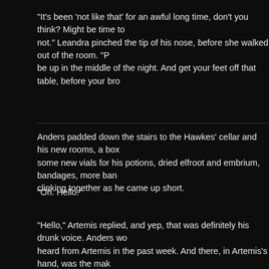"It's been 'not like that' for an awful long time, don't you think? Might be time to not." Leandra pinched the tip of his nose, before she walked out of the room. "P be up in the middle of the night. And get your feet off that table, before your bro
Anders padded down the stairs to the Hawkes' cellar and his new rooms, a box some new vials for his potions, dried elfroot and embrium, bandages, more ban clinking together as he came up short.
"Oh. Hello."
"Hello," Artemis replied, and yep, that was definitely his drunk voice. Anders wo heard from Artemis in the past week. And there, in Artemis's hand, was the mak empty bottle of rum. He was sitting on the steps, drinking. The cellar steps, not s that infamous night.
Anders sidled past Artemis. "You aren't still brooding over Broody, are you?"
Artemis mumbled something unintelligible into his bottle.
The situation did not seem to be improving. Artemis had been hiding in the cella upstairs, but Cormac had gotten worried about Artemis and those stairs, after th and he'd sent Artie to the cellar, to spend some quality time with the wine, up cl ended up all the way down the cellar, in Anders's rooms, and the healer didn't h